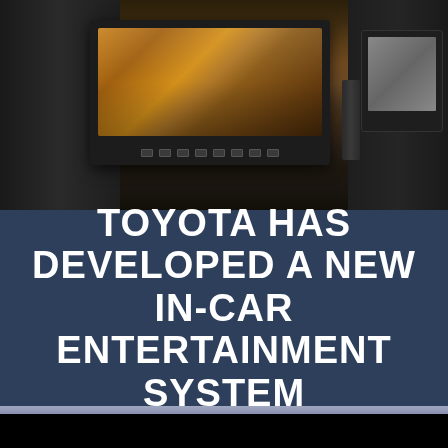[Figure (photo): Photo of an in-car entertainment system showing a monitor mounted behind a car headrest, with a screen displaying content and control buttons below the screen. A second monitor is partially visible on the right. The interior is dark leather.]
TOYOTA HAS DEVELOPED A NEW IN-CAR ENTERTAINMENT SYSTEM